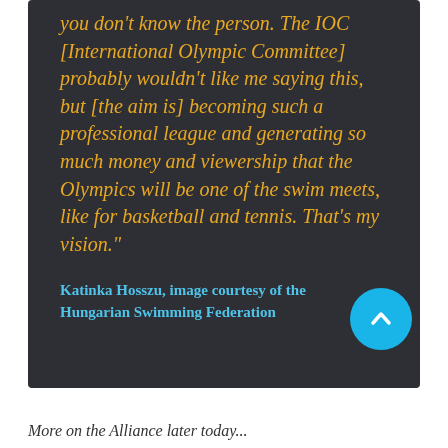you don't know the person. The IOC [International Olympic Committee] probably wouldn't like me saying this, but [the aim is] becoming such a professional league and generating so much money and viewership that the Olympics will be one of the swim meets, like for basketball and tennis. That's my vision."
Katinka Hosszu, image courtesy of the Hungarian Swimming Federation
More on the Alliance later today...